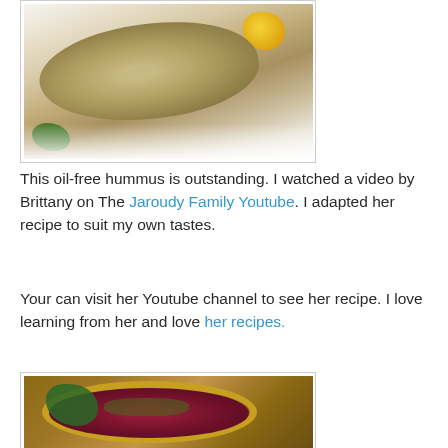[Figure (photo): Photo of oil-free hummus on a white plate with yellow pepper and parsley garnish]
This oil-free hummus is outstanding. I watched a video by Brittany on The Jaroudy Family Youtube. I adapted her recipe to suit my own tastes.
Your can visit her Youtube channel to see her recipe. I love learning from her and love her recipes.
[Figure (photo): Photo of beet hummus in a yellow bowl with green garnish and herbs on a wooden surface]